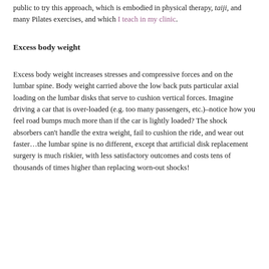public to try this approach, which is embodied in physical therapy, taiji, and many Pilates exercises, and which I teach in my clinic.
Excess body weight
Excess body weight increases stresses and compressive forces and on the lumbar spine. Body weight carried above the low back puts particular axial loading on the lumbar disks that serve to cushion vertical forces. Imagine driving a car that is over-loaded (e.g. too many passengers, etc.)–notice how you feel road bumps much more than if the car is lightly loaded? The shock absorbers can't handle the extra weight, fail to cushion the ride, and wear out faster…the lumbar spine is no different, except that artificial disk replacement surgery is much riskier, with less satisfactory outcomes and costs tens of thousands of times higher than replacing worn-out shocks!